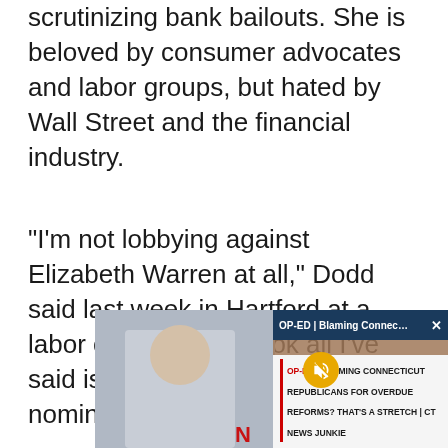scrutinizing bank bailouts. She is beloved by consumer advocates and labor groups, but hated by Wall Street and the financial industry.
“I’m not lobbying against Elizabeth Warren at all,” Dodd said last week in Hartford at a labor convention. “Look all I’ve said is I want a confirmable nominee.”
[Figure (screenshot): Video player screenshot showing a man seated, with an overlay of a news segment titled 'OP-ED | Blaming Connecticut Republicans for Overdue Reforms? That's a Stretch | CT News Junkie', with a mute button icon and a close (X) button.]